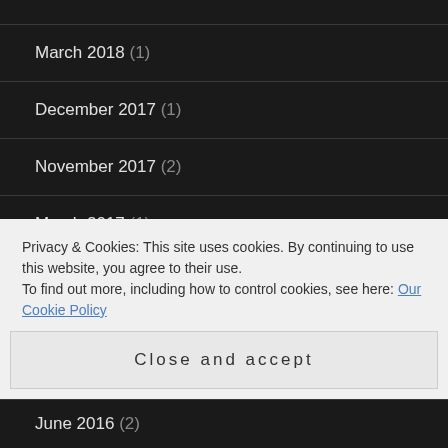March 2018 (1)
December 2017 (1)
November 2017 (2)
March 2017 (1)
January 2017 (2)
December 2016 (2)
November 2016 (2)
Privacy & Cookies: This site uses cookies. By continuing to use this website, you agree to their use.
To find out more, including how to control cookies, see here: Our Cookie Policy
Close and accept
June 2016 (2)